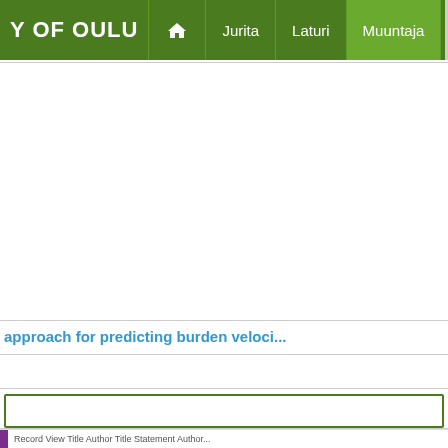[Figure (screenshot): University of Oulu library portal navigation bar with green background, showing home icon, Jurita, Laturi, Muuntaja navigation items]
approach for predicting burden veloci...
[Figure (screenshot): Search input field with green border and Find button with Advanced link]
Find
Advanced